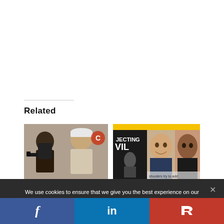Related
[Figure (photo): Two thumbnail images side by side under 'Related' section. Left: two people holding guns. Right: composite image with book cover reading 'JECTING VIL' and photos of a young man and a young woman.]
We use cookies to ensure that we give you the best experience on our website. If you continue to use this site we will assume that you are happy with it. This website is not intended for those who live in the European Economic Area.
[Figure (infographic): Social share bar with Facebook (blue), LinkedIn (blue), and Parler (red) icons]